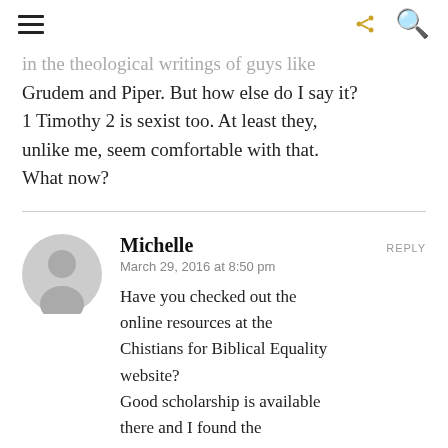navigation and search icons
in the theological writings of guys like Grudem and Piper. But how else do I say it? 1 Timothy 2 is sexist too. At least they, unlike me, seem comfortable with that. What now?
Michelle
March 29, 2016 at 8:50 pm
Have you checked out the online resources at the Chistians for Biblical Equality website?
Good scholarship is available there and I found the organization helpful when I